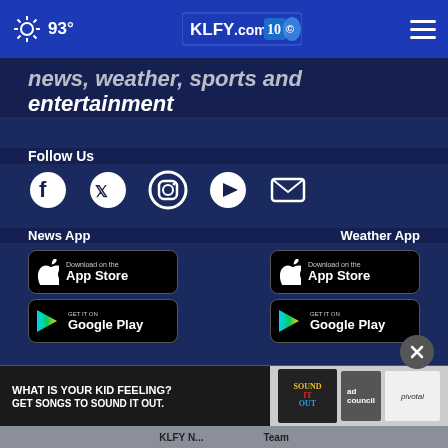KLFY.com 10 | 93°
news, weather, sports and entertainment
Follow Us
[Figure (screenshot): Social media icons: Facebook, Twitter, Instagram, YouTube, Email]
News App
[Figure (screenshot): Download on the App Store button]
[Figure (screenshot): Get it on Google Play button]
Weather App
[Figure (screenshot): Download on the App Store button]
[Figure (screenshot): Get it on Google Play button]
[Figure (screenshot): Advertisement banner: WHAT IS YOUR KID FEELING? GET SONGS TO SOUND IT OUT. Sound It Out / Ad Council / Pivotal]
KLFY N... Team